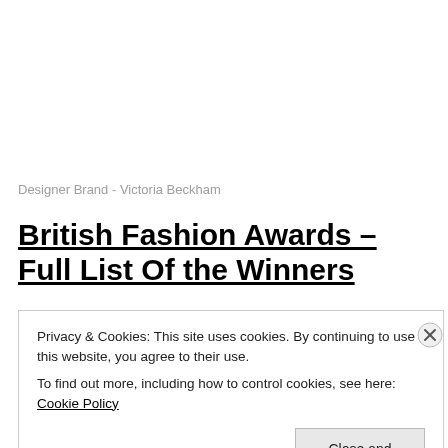Designer Brand - Victoria Beckham
British Fashion Awards – Full List Of the Winners
Privacy & Cookies: This site uses cookies. By continuing to use this website, you agree to their use.
To find out more, including how to control cookies, see here: Cookie Policy
Close and accept